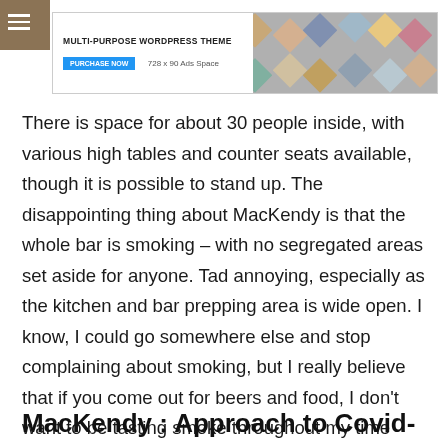[Figure (screenshot): Advertisement banner for a Multi-Purpose WordPress Theme with a Purchase Now button, 728x90 Ads Space label, and a diamond-pattern image collage on the right.]
There is space for about 30 people inside, with various high tables and counter seats available, though it is possible to stand up. The disappointing thing about MacKendy is that the whole bar is smoking – with no segregated areas set aside for anyone. Tad annoying, especially as the kitchen and bar prepping area is wide open. I know, I could go somewhere else and stop complaining about smoking, but I really believe that if you come out for beers and food, I don't want to be tasting smoke throughout my time out. A small gripe for some, but a major one for me.
MacKendy : Approach to Covid-